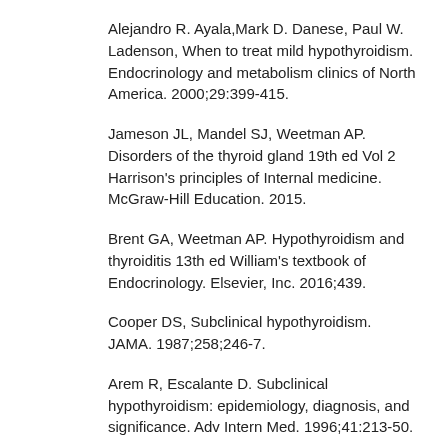Alejandro R. Ayala,Mark D. Danese, Paul W. Ladenson, When to treat mild hypothyroidism. Endocrinology and metabolism clinics of North America. 2000;29:399-415.
Jameson JL, Mandel SJ, Weetman AP. Disorders of the thyroid gland 19th ed Vol 2 Harrison's principles of Internal medicine. McGraw-Hill Education. 2015.
Brent GA, Weetman AP. Hypothyroidism and thyroiditis 13th ed William's textbook of Endocrinology. Elsevier, Inc. 2016;439.
Cooper DS, Subclinical hypothyroidism. JAMA. 1987;258;246-7.
Arem R, Escalante D. Subclinical hypothyroidism: epidemiology, diagnosis, and significance. Adv Intern Med. 1996;41:213-50.
Cooper DS. Subclinical thyroid disease: a clinician's perspective. Ann Intern Med. 1998;129:135-8.